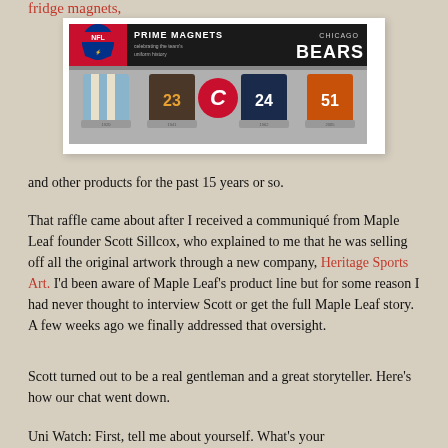fridge magnets,
[Figure (photo): NFL Prime Magnets product packaging for Chicago Bears, showing four historical jerseys with numbers 23, 24, and 51 on a silver background with red and black header.]
and other products for the past 15 years or so.
That raffle came about after I received a communiqué from Maple Leaf founder Scott Sillcox, who explained to me that he was selling off all the original artwork through a new company, Heritage Sports Art. I'd been aware of Maple Leaf's product line but for some reason I had never thought to interview Scott or get the full Maple Leaf story. A few weeks ago we finally addressed that oversight.
Scott turned out to be a real gentleman and a great storyteller. Here's how our chat went down.
Uni Watch: First, tell me about yourself. What's your